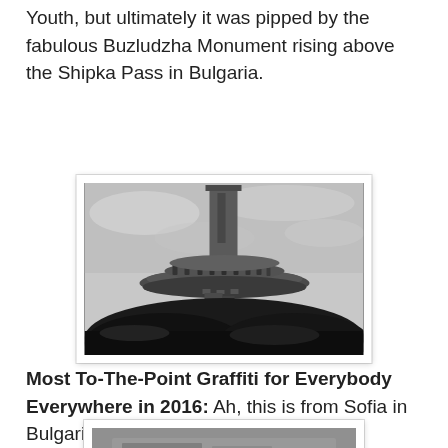Youth, but ultimately it was pipped by the fabulous Buzludzha Monument rising above the Shipka Pass in Bulgaria.
[Figure (photo): Black and white photograph of the Buzludzha Monument in Bulgaria — a brutalist UFO-shaped concrete structure with a tall rectangular tower rising from the center, perched on a dark hillside under an overcast sky.]
Most To-The-Point Graffiti for Everybody Everywhere in 2016: Ah, this is from Sofia in Bulgaria.
[Figure (photo): Partially visible photograph — appears to show graffiti on a surface in Sofia, Bulgaria, cropped at the bottom of the page.]